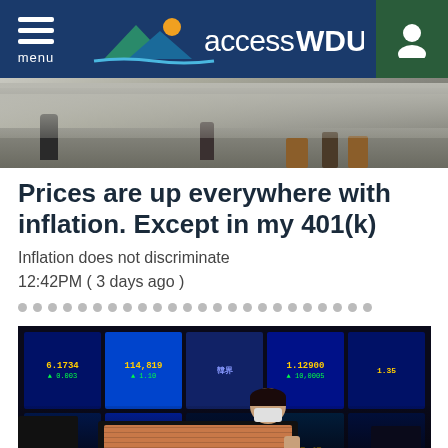accessWDUN — menu / user nav
[Figure (photo): Street scene with pedestrians walking, viewed from below/ground level, grayscale tones]
Prices are up everywhere with inflation. Except in my 401(k)
Inflation does not discriminate
12:42PM ( 3 days ago )
[Figure (photo): Stock market trading floor screens showing financial data; a masked trader sits in the foreground in front of multiple monitors]